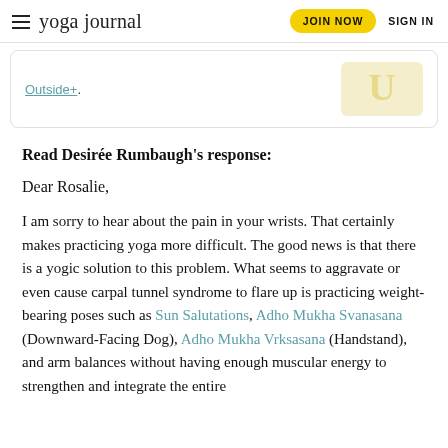yoga journal | JOIN NOW | SIGN IN
Outside+.
Read Desirée Rumbaugh's response:
Dear Rosalie,
I am sorry to hear about the pain in your wrists. That certainly makes practicing yoga more difficult. The good news is that there is a yogic solution to this problem. What seems to aggravate or even cause carpal tunnel syndrome to flare up is practicing weight-bearing poses such as Sun Salutations, Adho Mukha Svanasana (Downward-Facing Dog), Adho Mukha Vrksasana (Handstand), and arm balances without having enough muscular energy to strengthen and integrate the entire